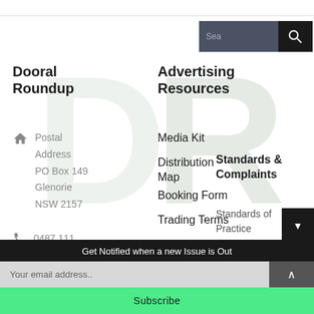[Figure (logo): Large watermark letters DR in light gray/green in background]
Dooral Roundup
Advertising Resources
Postal Address
PO Box 149
Glenorie
NSW 2157
0487 111
Media Kit
Distribution Map
Booking Form
Trading Terms
Standards & Complaints
Standards of Practice
Get Notified when a new Issue is Out
Your email address..
Subscribe